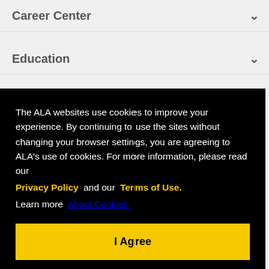Career Center
Education
Events
The ALA websites use cookies to improve your experience. By continuing to use the sites without changing your browser settings, you are agreeing to ALA's use of cookies. For more information, please read our Privacy Policy and our Terms of Use. Learn more About Cookies.
I Agree
ORS. ALL